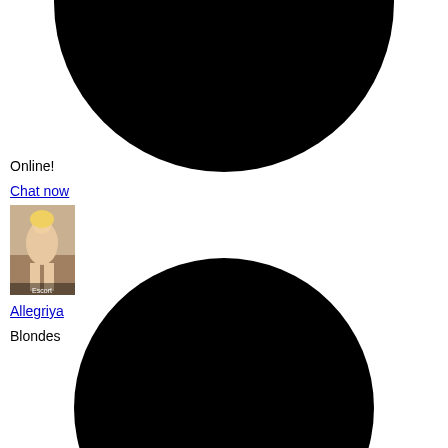[Figure (illustration): Large black circle (top half visible) at top of page]
Online!
Chat now
[Figure (photo): Thumbnail photo of a blonde woman sitting on a couch, labeled 'Escort']
Allegriya
Blondes
[Figure (illustration): Large black circle (top portion visible) at bottom of page]